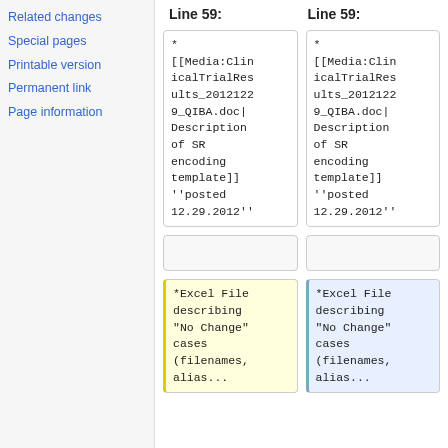Related changes
Special pages
Printable version
Permanent link
Page information
Line 59:
Line 59:
*
[[Media:ClinicalTrialResults_20121229_QIBA.doc|Description of SR encoding template]]''posted 12.29.2012''
*
[[Media:ClinicalTrialResults_20121229_QIBA.doc|Description of SR encoding template]]''posted 12.29.2012''
*Excel File describing "No Change" cases (filenames, alias...
*Excel File describing "No Change" cases (filenames, alias...